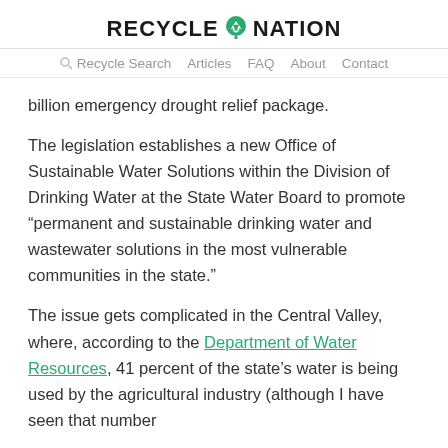RECYCLE NATION
Recycle Search  Articles  FAQ  About  Contact
billion emergency drought relief package.
The legislation establishes a new Office of Sustainable Water Solutions within the Division of Drinking Water at the State Water Board to promote “permanent and sustainable drinking water and wastewater solutions in the most vulnerable communities in the state.”
The issue gets complicated in the Central Valley, where, according to the Department of Water Resources, 41 percent of the state’s water is being used by the agricultural industry (although I have seen that number